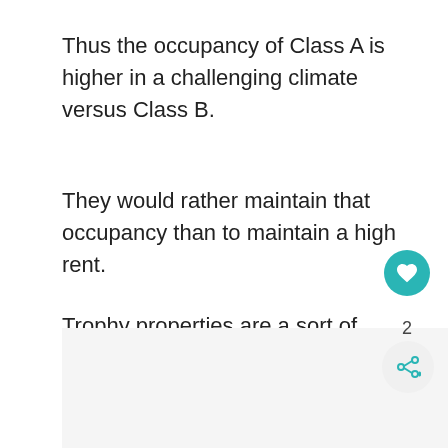Thus the occupancy of Class A is higher in a challenging climate versus Class B.
They would rather maintain that occupancy than to maintain a high rent.
Trophy properties are a sort of branding given to the best of the best. They tend to be newer (less than 10 years old compared to 25 years old average).